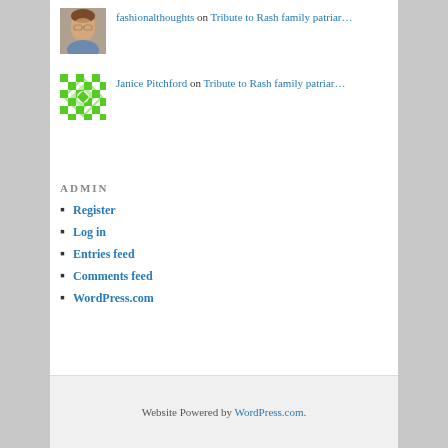[Figure (photo): Profile photo of a woman with glasses]
fashionalthoughts on Tribute to Rash family patriar…
[Figure (illustration): Green and white geometric checkerboard pattern avatar]
Janice Pitchford on Tribute to Rash family patriar…
ADMIN
Register
Log in
Entries feed
Comments feed
WordPress.com
Website Powered by WordPress.com.